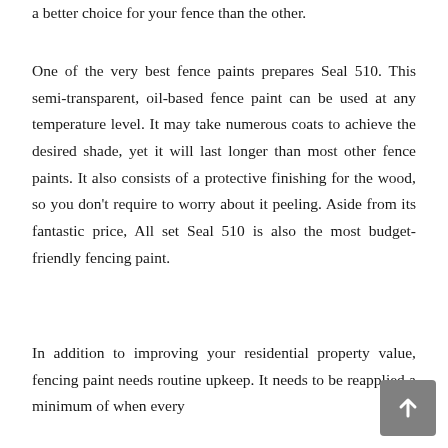a better choice for your fence than the other.
One of the very best fence paints prepares Seal 510. This semi-transparent, oil-based fence paint can be used at any temperature level. It may take numerous coats to achieve the desired shade, yet it will last longer than most other fence paints. It also consists of a protective finishing for the wood, so you don’t require to worry about it peeling. Aside from its fantastic price, All set Seal 510 is also the most budget-friendly fencing paint.
In addition to improving your residential property value, fencing paint needs routine upkeep. It needs to be reapplied a minimum of when every